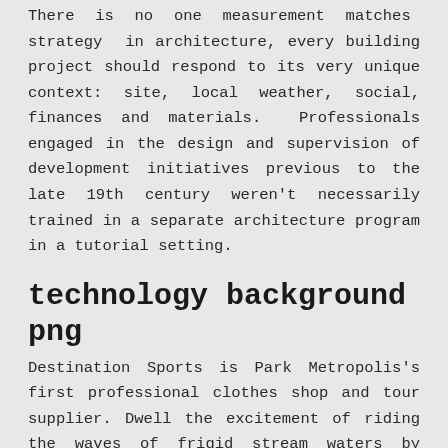There is no one measurement matches strategy in architecture, every building project should respond to its very unique context: site, local weather, social, finances and materials. Professionals engaged in the design and supervision of development initiatives previous to the late 19th century weren't necessarily trained in a separate architecture program in a tutorial setting.
technology background png
Destination Sports is Park Metropolis's first professional clothes shop and tour supplier. Dwell the excitement of riding the waves of frigid stream waters by rafting or descend the slopes getting the adrenaline of mountainbike free-riding. You select from various options for studio work, with projects ranging in scale from mapping studies and interior interventions, to cheap-sized buildings. Discover all of our crusing and water-sports activities actions at our